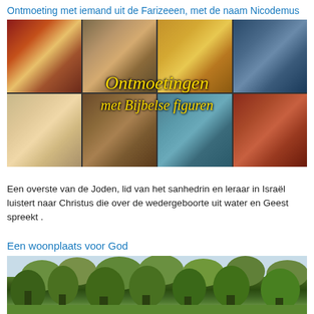Ontmoeting met iemand uit de Farizeeen, met de naam Nicodemus
[Figure (illustration): Collage of eight Biblical paintings arranged in a 4x2 grid, showing various Biblical figures including Mary with baby Jesus, a woman with a jar, a Byzantine-style portrait, Moses, a bearded elder, an older man, two figures facing each other, and an angel. Overlaid in the center is yellow italic text reading 'Ontmoetingen met Bijbelse figuren'.]
Een overste van de Joden, lid van het sanhedrin en leraar in Israël luistert naar Christus die over de wedergeboorte uit water en Geest spreekt .
Een woonplaats voor God
[Figure (photo): Photo of a forest with tall trees and green foliage against a light sky, shot from below looking up through the canopy.]